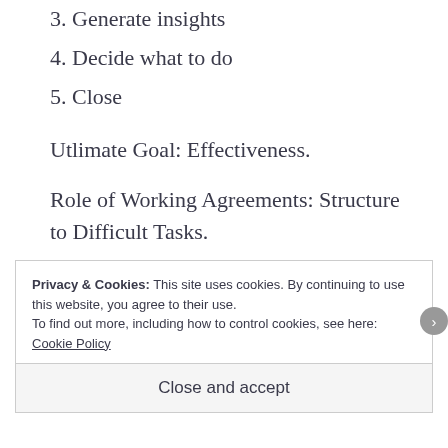3. Generate insights
4. Decide what to do
5. Close
Utlimate Goal: Effectiveness.
Role of Working Agreements: Structure to Difficult Tasks.
Some Takeaways:
Privacy & Cookies: This site uses cookies. By continuing to use this website, you agree to their use. To find out more, including how to control cookies, see here: Cookie Policy
Close and accept